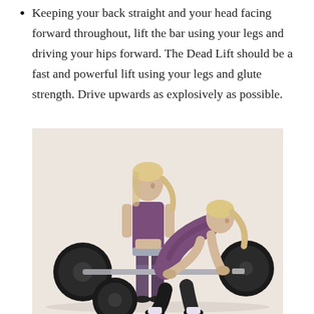Keeping your back straight and your head facing forward throughout, lift the bar using your legs and driving your hips forward. The Dead Lift should be a fast and powerful lift using your legs and glute strength. Drive upwards as explosively as possible.
[Figure (photo): Two blonde women in athletic wear performing deadlift exercises with a loaded barbell in a gym setting with a light beige background. One woman is standing upright having completed the lift, wearing a purple sports bra and patterned leggings. The other woman is in the starting/mid-lift position, bent forward gripping the barbell, wearing a purple top and black leggings.]